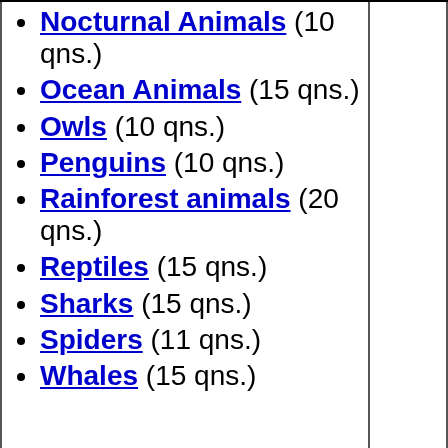Nocturnal Animals (10 qns.)
Ocean Animals (15 qns.)
Owls (10 qns.)
Penguins (10 qns.)
Rainforest animals (20 qns.)
Reptiles (15 qns.)
Sharks (15 qns.)
Spiders (11 qns.)
Whales (15 qns.)